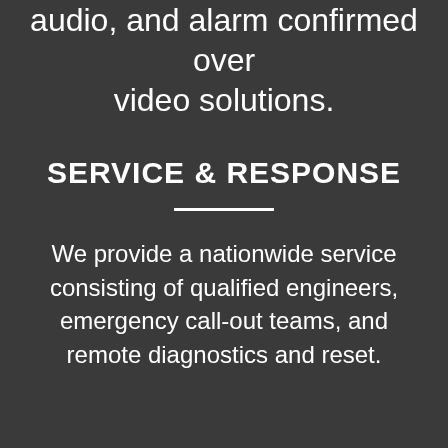audio, and alarm confirmed over video solutions.
SERVICE & RESPONSE
We provide a nationwide service consisting of qualified engineers, emergency call-out teams, and remote diagnostics and reset.